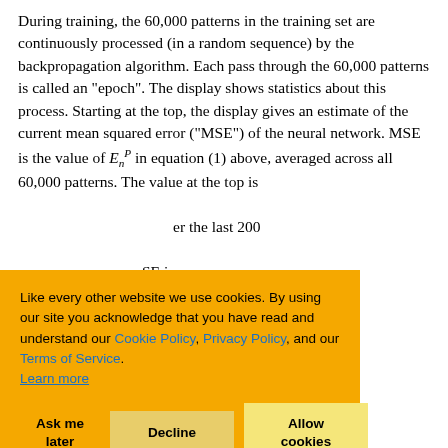During training, the 60,000 patterns in the training set are continuously processed (in a random sequence) by the backpropagation algorithm. Each pass through the 60,000 patterns is called an "epoch". The display shows statistics about this process. Starting at the top, the display gives an estimate of the current mean squared error ("MSE") of the neural network. MSE is the value of E_n^P in equation (1) above, averaged across all 60,000 patterns. The value at the top is [obscured] er the last 200 [obscured] SE is seen [obscured] raph of the [obscured] st four epochs. [obscured] amely the [obscured] d the cardinal number of the current pattern being backpropagated
Like every other website we use cookies. By using our site you acknowledge that you have read and understand our Cookie Policy, Privacy Policy, and our Terms of Service. Learn more
Ask me later | Decline | Allow cookies